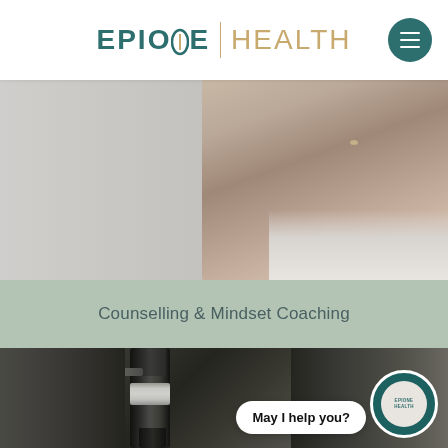EPIONE | HEALTH
[Figure (photo): Close-up photo of a person's hands, appears to be someone in a white knit sweater with hands raised near face, soft gray background, counselling/mindset theme]
Counselling & Mindset Coaching
[Figure (photo): Close-up photo of a microscope with dark metallic barrel and ring detail, dark background, with a chat bubble overlay saying 'May I help you?' and an Epione Health avatar circle in teal]